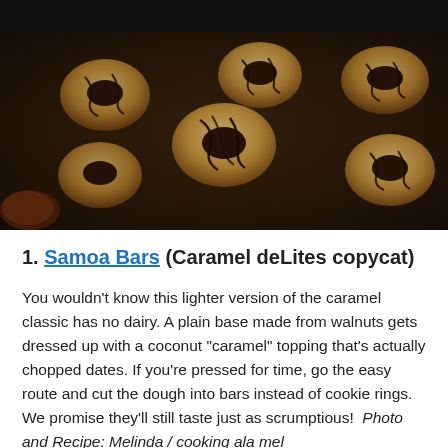[Figure (photo): Close-up photo of Samoa Bars (Caramel deLites copycat cookies) — coconut-covered ring-shaped cookies drizzled with dark chocolate, arranged on a dark baking tray. Chopped dates visible in the lower left corner.]
1. Samoa Bars (Caramel deLites copycat)
You wouldn't know this lighter version of the caramel classic has no dairy. A plain base made from walnuts gets dressed up with a coconut "caramel" topping that's actually chopped dates. If you're pressed for time, go the easy route and cut the dough into bars instead of cookie rings. We promise they'll still taste just as scrumptious! Photo and Recipe: Melinda / cooking ala mel